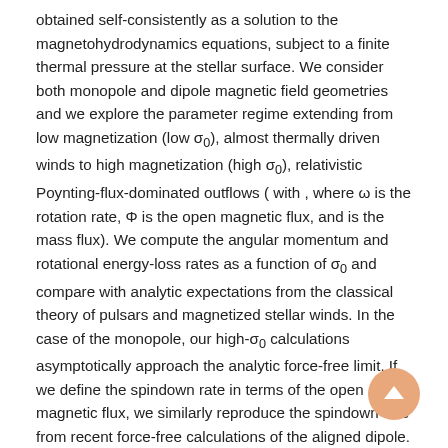obtained self-consistently as a solution to the magnetohydrodynamics equations, subject to a finite thermal pressure at the stellar surface. We consider both monopole and dipole magnetic field geometries and we explore the parameter regime extending from low magnetization (low σ₀), almost thermally driven winds to high magnetization (high σ₀), relativistic Poynting-flux-dominated outflows ( with , where ω is the rotation rate, Φ is the open magnetic flux, and is the mass flux). We compute the angular momentum and rotational energy-loss rates as a function of σ₀ and compare with analytic expectations from the classical theory of pulsars and magnetized stellar winds. In the case of the monopole, our high-σ₀ calculations asymptotically approach the analytic force-free limit. If we define the spindown rate in terms of the open magnetic flux, we similarly reproduce the spindown rate from recent force-free calculations of the aligned dipole. However, even for σ₀ as high as ~20, we find that the location of the Y-type point (r_Y), which specifies the radius of the last closed field line in the equatorial plane, is not the radius of the Light Cylinder (R= cylindrical radius), as has previously been assumed in most estimates and force-free calculations. Instead, although the Alfvén radius at intermediate latitudes quickly approaches R_L as